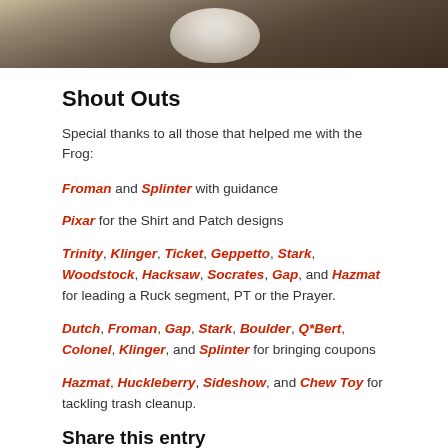[Figure (photo): Partial photo at top of page showing sandy/earthy ground with a white circular object, dark brown tones]
Shout Outs
Special thanks to all those that helped me with the Frog:
Froman and Splinter with guidance
Pixar for the Shirt and Patch designs
Trinity, Klinger, Ticket, Geppetto, Stark, Woodstock, Hacksaw, Socrates, Gap, and Hazmat for leading a Ruck segment, PT or the Prayer.
Dutch, Froman, Gap, Stark, Boulder, Q*Bert, Colonel, Klinger, and Splinter for bringing coupons
Hazmat, Huckleberry, Sideshow, and Chew Toy for tackling trash cleanup.
Share this entry